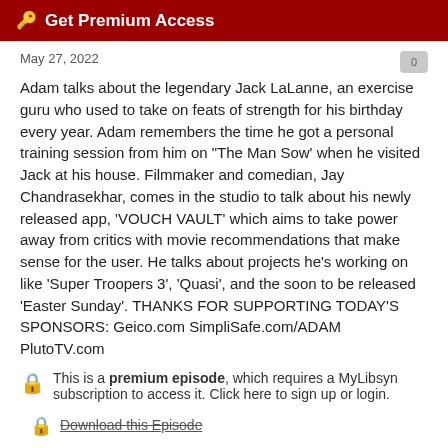🔑 Get Premium Access
May 27, 2022
Adam talks about the legendary Jack LaLanne, an exercise guru who used to take on feats of strength for his birthday every year. Adam remembers the time he got a personal training session from him on "The Man Sow' when he visited Jack at his house. Filmmaker and comedian, Jay Chandrasekhar, comes in the studio to talk about his newly released app, 'VOUCH VAULT' which aims to take power away from critics with movie recommendations that make sense for the user. He talks about projects he's working on like 'Super Troopers 3', 'Quasi', and the soon to be released 'Easter Sunday'. THANKS FOR SUPPORTING TODAY'S SPONSORS: Geico.com SimpliSafe.com/ADAM PlutoTV.com
This is a premium episode, which requires a MyLibsyn subscription to access it. Click here to sign up or login.
Download this Episode
Part 2: Twist Away Twister + News (ACS Ma...
May 26, 2022
Chris shows Adam a clip of an LA traffic incident and informs him that he predicted the incident 5 days before. Gina Grad reports the news of today...